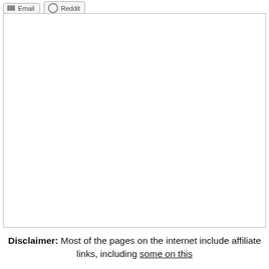[Figure (other): Two social share buttons: Email and Reddit, shown at top left]
[Figure (other): Large empty white rectangle with a thin gray border, likely an image placeholder]
Disclaimer: Most of the pages on the internet include affiliate links, including some on this